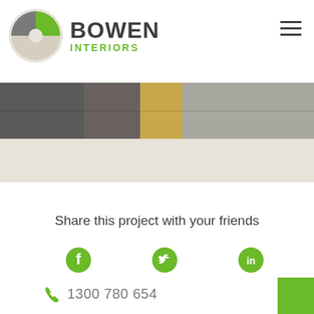[Figure (logo): Bowen Interiors logo: circular pie-chart style icon with green, grey, and beige segments, next to bold dark text BOWEN with green text INTERIORS below]
[Figure (photo): Interior photo showing stairs and glass doors/windows, partially cropped at top]
Share this project with your friends
[Figure (infographic): Social media icons: Facebook (f), Twitter (bird), LinkedIn (in) — all in green]
1300 780 654